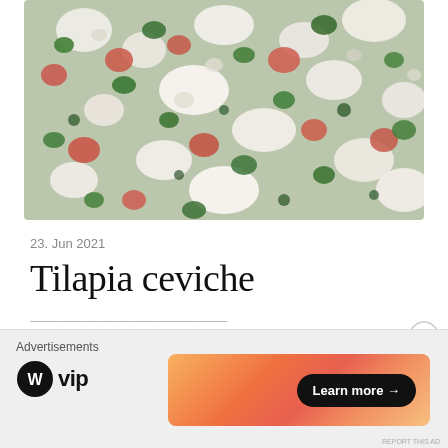[Figure (photo): Close-up photo of tilapia ceviche showing diced white fish, red tomatoes, green herbs/cilantro, and other mixed ingredients]
23. Jun 2021
Tilapia ceviche
Advertisements
[Figure (logo): WordPress VIP logo with circle W icon and 'vip' text]
[Figure (other): Advertisement banner with orange gradient background and 'Learn more →' button]